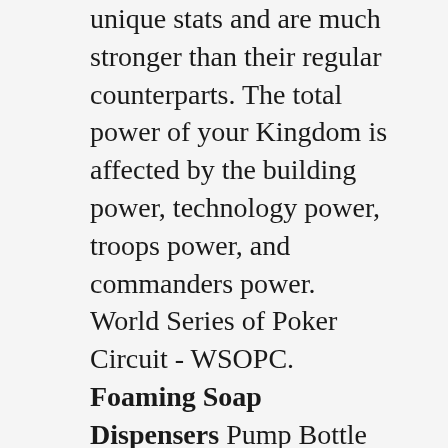unique stats and are much stronger than their regular counterparts. The total power of your Kingdom is affected by the building power, technology power, troops power, and commanders power. World Series of Poker Circuit - WSOPC. Foaming Soap Dispensers Pump Bottle (3-Pack) ULG 10oz / 300ml Empty Oval Foam Bottles Liquid Hand Soap Containers BPA Free Plastic for Bathroom Kitchen Countertop Gray By ulg 4.4. Las mejores ofertas para ULg dispensadores de jabón botellas 16oz encimera Loción claro con Acero Inoxidable están en eBay Compara precios y características de productos nuevos y usados Muchos artículos con envío gratis!. Yebeauty 250ml Empty Pump Bottle, Shampoo Bottles Dispenser with Pump, 8oz/250ml - 2 Pack, Golden Rating Required Select Rating 1 star (worst) 2 stars 3 stars (average) 4 stars 5 stars. As low as $0.32 Each. 8 oz PET Plastic Bullet Round Bottle 24-